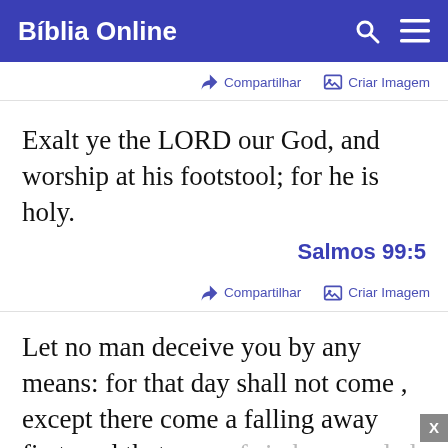Bíblia Online
Compartilhar   Criar Imagem
Exalt ye the LORD our God, and worship at his footstool; for he is holy.
Salmos 99:5
Compartilhar   Criar Imagem
Let no man deceive you by any means: for that day shall not come , except there come a falling away first, and that man of sin be revealed, the son of perdition;